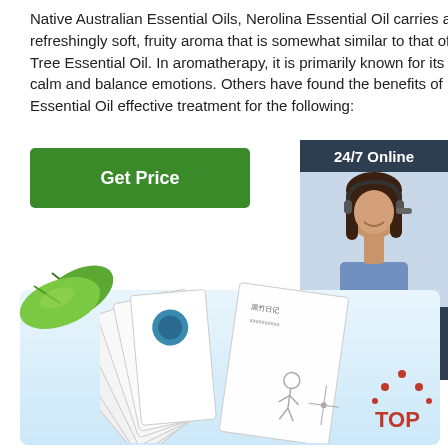Native Australian Essential Oils, Nerolina Essential Oil carries a refreshingly soft, fruity aroma that is somewhat similar to that of Tea Tree Essential Oil. In aromatherapy, it is primarily known for its ability to calm and balance emotions. Others have found the benefits of Nerolina Essential Oil effective treatment for the following:
[Figure (other): Green 'Get Price' button]
[Figure (other): Sidebar with 24/7 Online support agent photo, 'Click here for free chat!' and QUOTATION button]
[Figure (illustration): Green leaves illustration and fan of product cards/notebooks with blue circular logos and Chinese text, with TOP badge in bottom right]